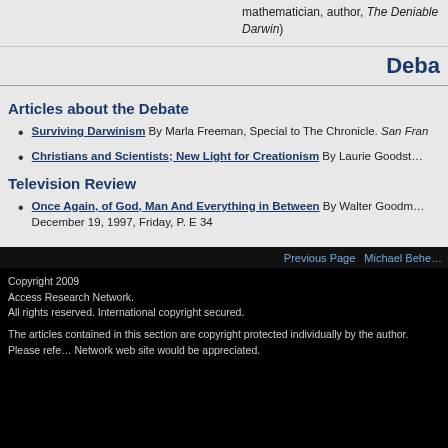mathematician, author, The Deniable Darwin)
Deba…
Articles about the Debate
Surviving Darwinism By Marla Freeman, Special to The Chronicle. San Fran…
Christians and Scientists; New Light for Creationism By Laurie Goodst…
Television Review
Once Again, of God, Man And Everything in Between By Walter Goodm… December 19, 1997, Friday, P. E 34
Previous Page | Michael Behe…
Copyright 2009
Access Research Network.
All rights reserved. International copyright secured.
The articles contained in this section are copyright protected individually by the author. Please refe… Network web site would be appreciated.